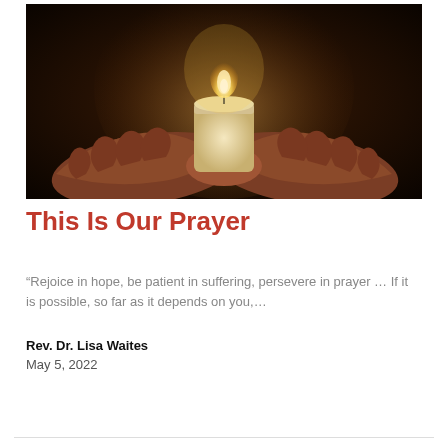[Figure (photo): Close-up photo of two cupped hands holding a lit white candle against a dark black background. The candle flame illuminates the hands from above.]
This Is Our Prayer
“Rejoice in hope, be patient in suffering, persevere in prayer … If it is possible, so far as it depends on you,…
Rev. Dr. Lisa Waites
May 5, 2022